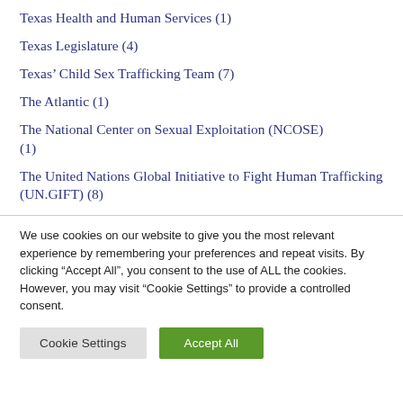Texas Health and Human Services (1)
Texas Legislature (4)
Texas' Child Sex Trafficking Team (7)
The Atlantic (1)
The National Center on Sexual Exploitation (NCOSE) (1)
The United Nations Global Initiative to Fight Human Trafficking (UN.GIFT) (8)
We use cookies on our website to give you the most relevant experience by remembering your preferences and repeat visits. By clicking “Accept All”, you consent to the use of ALL the cookies. However, you may visit “Cookie Settings” to provide a controlled consent.